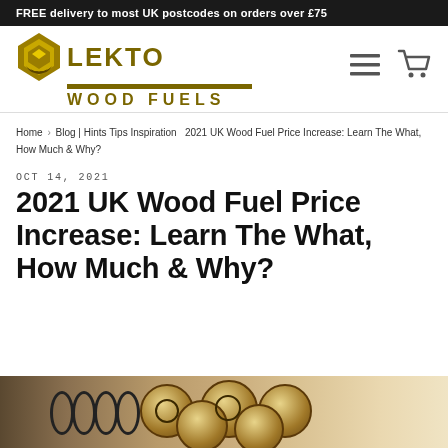FREE delivery to most UK postcodes on orders over £75
[Figure (logo): Lekto Wood Fuels logo with diamond icon and gold text]
Home / Blog | Hints Tips Inspiration / 2021 UK Wood Fuel Price Increase: Learn The What, How Much & Why?
OCT 14, 2021
2021 UK Wood Fuel Price Increase: Learn The What, How Much & Why?
[Figure (photo): Photo of wood fuel logs stacked, shown partially at bottom of page]